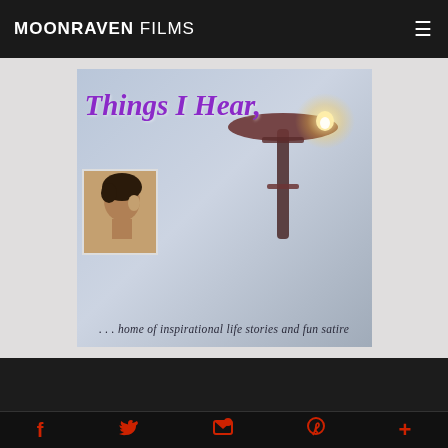MOONRAVEN FILMS
[Figure (illustration): Promotional banner for 'Things I Hear' showing a lit candle on a dark pedestal against a grey-blue background, with cursive purple title text 'Things I Hear,' and a small portrait photo of a woman. Subtitle text reads '... home of inspirational life stories and fun satire']
Social media icons: Facebook, Twitter, Email/Feed, Pinterest, Plus